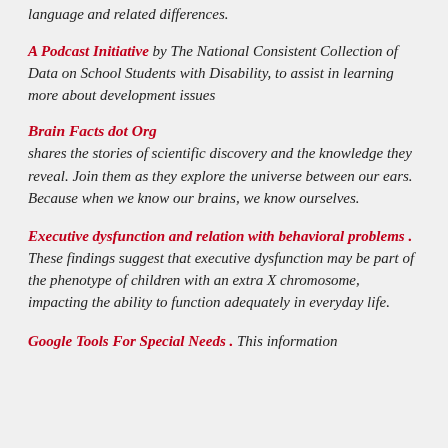language and related differences.
A Podcast Initiative by The National Consistent Collection of Data on School Students with Disability, to assist in learning more about development issues
Brain Facts dot Org
shares the stories of scientific discovery and the knowledge they reveal. Join them as they explore the universe between our ears. Because when we know our brains, we know ourselves.
Executive dysfunction and relation with behavioral problems . These findings suggest that executive dysfunction may be part of the phenotype of children with an extra X chromosome, impacting the ability to function adequately in everyday life.
Google Tools For Special Needs . This information